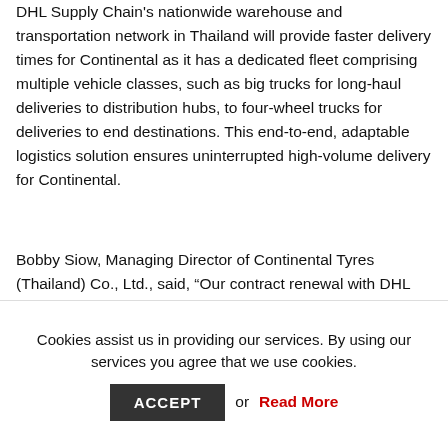DHL Supply Chain's nationwide warehouse and transportation network in Thailand will provide faster delivery times for Continental as it has a dedicated fleet comprising multiple vehicle classes, such as big trucks for long-haul deliveries to distribution hubs, to four-wheel trucks for deliveries to end destinations. This end-to-end, adaptable logistics solution ensures uninterrupted high-volume delivery for Continental.
Bobby Siow, Managing Director of Continental Tyres (Thailand) Co., Ltd., said, “Our contract renewal with DHL Supply Chain is a testament to our confidence in them. In order to compete effectively and efficiently in Thailand, we need reliable and quick partners in embracing technologies and sustainable initiatives. We look forward to strengthening
Cookies assist us in providing our services. By using our services you agree that we use cookies.
ACCEPT or Read More